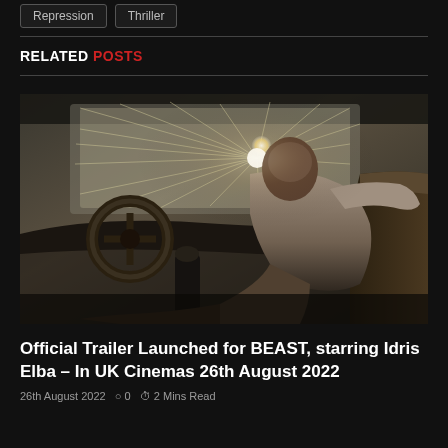Repression
Thriller
RELATED POSTS
[Figure (photo): A man sitting in a vehicle with a broken windshield, dramatic light shining through, scene from the movie BEAST starring Idris Elba]
Official Trailer Launched for BEAST, starring Idris Elba – In UK Cinemas 26th August 2022
26th August 2022   0   2 Mins Read